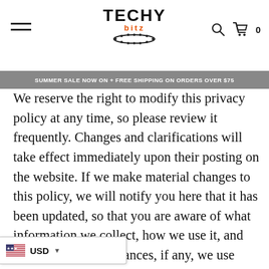TECHY bitz — header with hamburger menu, search and cart icons
SUMMER SALE NOW ON + FREE SHIPPING ON ORDERS OVER $75
We reserve the right to modify this privacy policy at any time, so please review it frequently. Changes and clarifications will take effect immediately upon their posting on the website. If we make material changes to this policy, we will notify you here that it has been updated, so that you are aware of what information we collect, how we use it, and under what circumstances, if any, we use and/or disclose it. If our store is acquired or merged with another company, your information may be transferred to the new owners so that we may continue to sell